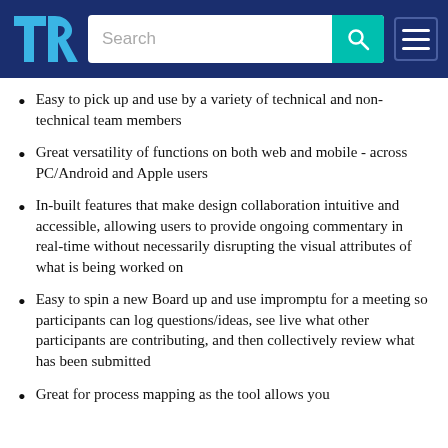TrustRadius logo and search bar navigation
Easy to pick up and use by a variety of technical and non-technical team members
Great versatility of functions on both web and mobile - across PC/Android and Apple users
In-built features that make design collaboration intuitive and accessible, allowing users to provide ongoing commentary in real-time without necessarily disrupting the visual attributes of what is being worked on
Easy to spin a new Board up and use impromptu for a meeting so participants can log questions/ideas, see live what other participants are contributing, and then collectively review what has been submitted
Great for process mapping as the tool allows you